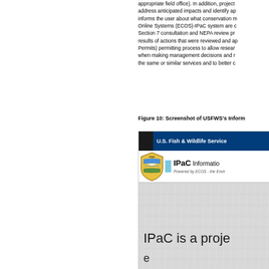appropriate field office). In addition, project address anticipated impacts and identify ap informs the user about what conservation m Online Systems (ECOS)-IPaC system are c Section 7 consultation and NEPA review pr results of actions that were reviewed and ap Permits) permitting process to allow resear when making management decisions and r the same or similar services and to better c
Figure 10: Screenshot of USFWS's Inform
[Figure (screenshot): Screenshot of USFWS IPaC (Information for Planning and Consultation) tool website, showing the U.S. Fish & Wildlife Service logo, IPaC header bar, shield badge, and the beginning of text reading 'IPaC is a proje' and 'e']